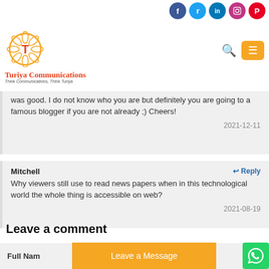[Figure (logo): Turiya Communications logo with sun/lotus symbol and tagline 'Think Communications, Think Turiya']
was good. I do not know who you are but definitely you are going to a famous blogger if you are not already ;) Cheers!
2021-12-11
Mitchell
Reply
Why viewers still use to read news papers when in this technological world the whole thing is accessible on web?
2021-08-19
Leave a comment
Full Name
Leave a Message